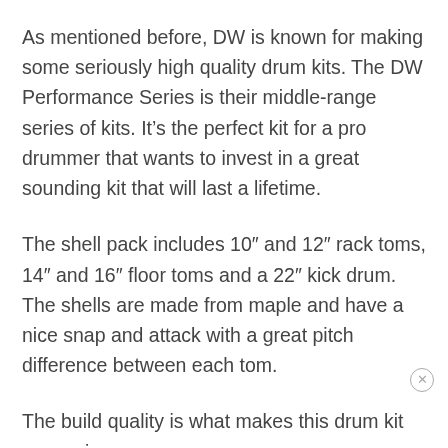As mentioned before, DW is known for making some seriously high quality drum kits. The DW Performance Series is their middle-range series of kits. It's the perfect kit for a pro drummer that wants to invest in a great sounding kit that will last a lifetime.
The shell pack includes 10" and 12" rack toms, 14" and 16" floor toms and a 22" kick drum. The shells are made from maple and have a nice snap and attack with a great pitch difference between each tom.
The build quality is what makes this drum kit expensive. The kit feels extremely solid and the drums stay in tune for what seems like an eternity.